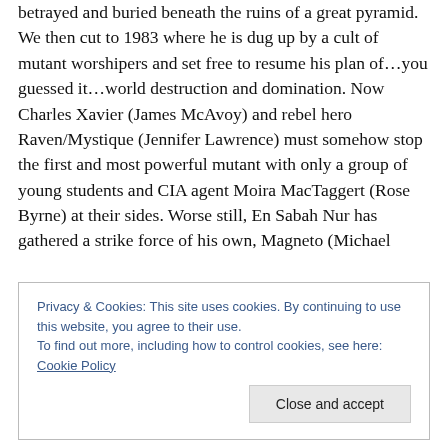betrayed and buried beneath the ruins of a great pyramid. We then cut to 1983 where he is dug up by a cult of mutant worshipers and set free to resume his plan of…you guessed it…world destruction and domination. Now Charles Xavier (James McAvoy) and rebel hero Raven/Mystique (Jennifer Lawrence) must somehow stop the first and most powerful mutant with only a group of young students and CIA agent Moira MacTaggert (Rose Byrne) at their sides. Worse still, En Sabah Nur has gathered a strike force of his own, Magneto (Michael
Privacy & Cookies: This site uses cookies. By continuing to use this website, you agree to their use.
To find out more, including how to control cookies, see here: Cookie Policy